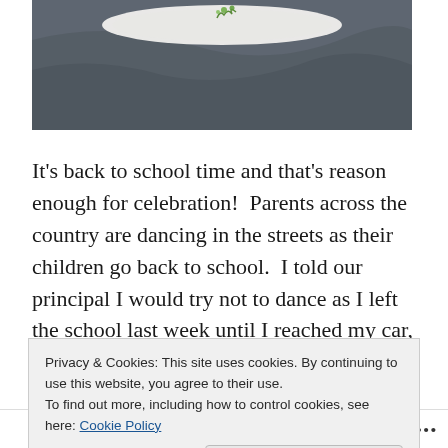[Figure (photo): Photo of a white plate or dish with a small green plant/herb on dark rocky surface]
It’s back to school time and that’s reason enough for celebration!  Parents across the country are dancing in the streets as their children go back to school.  I told our principal I would try not to dance as I left the school last week until I reached my car, though there was a spring in
Privacy & Cookies: This site uses cookies. By continuing to use this website, you agree to their use.
To find out more, including how to control cookies, see here: Cookie Policy
Close and accept
Follow